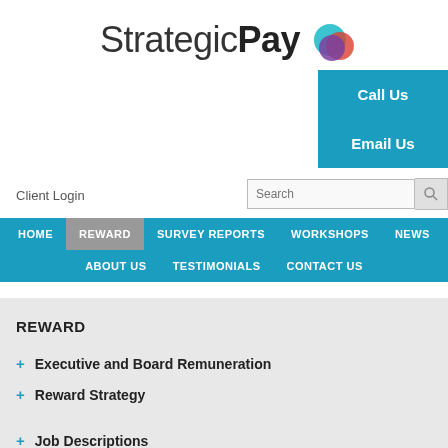[Figure (logo): StrategicPay logo with overlapping colored circles (teal, purple, red/orange)]
Call Us
Email Us
Client Login
[Figure (other): Search input box with search icon button]
HOME | REWARD | SURVEY REPORTS | WORKSHOPS | NEWS | ABOUT US | TESTIMONIALS | CONTACT US
REWARD
+ Executive and Board Remuneration
+ Reward Strategy
+ Job Descriptions